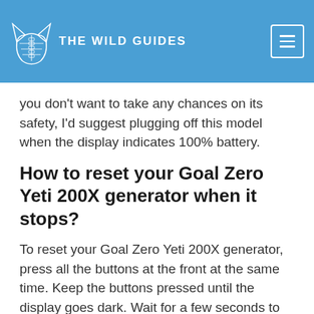THE WILD GUIDES
you don't want to take any chances on its safety, I'd suggest plugging off this model when the display indicates 100% battery.
How to reset your Goal Zero Yeti 200X generator when it stops?
To reset your Goal Zero Yeti 200X generator, press all the buttons at the front at the same time. Keep the buttons pressed until the display goes dark. Wait for a few seconds to give the Yeti 200X the time to get things up and running again.
Can Goal Zero Yeti 200X charge a car battery?